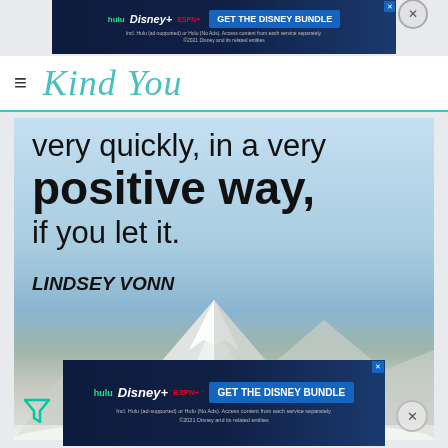[Figure (other): Disney Bundle advertisement banner with Hulu, Disney+, ESPN+ logos and 'GET THE DISNEY BUNDLE' button]
Kind You
[Figure (photo): Inspirational quote over snowy mountain landscape: 'very quickly, in a very positive way, if you let it.' attributed to LINDSEY VONN]
[Figure (other): Disney Bundle advertisement banner (bottom) with Hulu, Disney+, ESPN+ logos and 'GET THE DISNEY BUNDLE' button]